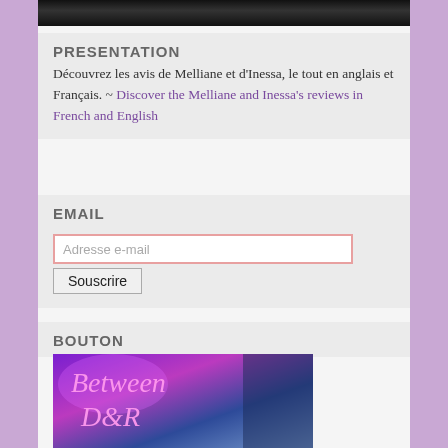[Figure (photo): Top cropped black/dark image strip]
PRESENTATION
Découvrez les avis de Melliane et d'Inessa, le tout en anglais et Français. ~ Discover the Melliane and Inessa's reviews in French and English
EMAIL
Adresse e-mail [input field] Souscrire [button]
BOUTON
[Figure (illustration): Between D&R stylized fantasy book blog logo with purple and blue tones]